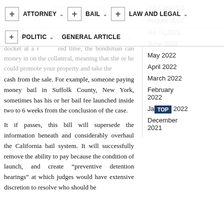ATTORNEY | BAIL | LAW AND LEGAL | POLITIC | GENERAL ARTICLE
in all ability has to offer the bail bondsman some collateral to be able to get the bond (providing an client something automotive or home). If you fail to look in court docket at a required time, the bondsman can money in on the collateral, meaning that she or he could promote your property and take the cash from the sale. For example, someone paying money bail in Suffolk County, New York, sometimes has his or her bail fee launched inside two to 6 weeks from the conclusion of the case.
It if passes, this bill will supersede the information beneath and considerably overhaul the California bail system. It will successfully remove the ability to pay because the condition of launch, and create “preventive detention hearings” at which judges would have extensive discretion to resolve who should be
ARCHIVES
August 2022
July 2022
June 2022
May 2022
April 2022
March 2022
February 2022
January 2022
December 2021